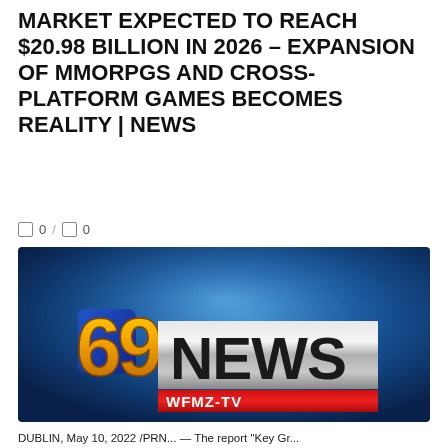MARKET EXPECTED TO REACH $20.98 BILLION IN 2026 – EXPANSION OF MMORPGS AND CROSS-PLATFORM GAMES BECOMES REALITY | NEWS
0 / 0
[Figure (logo): 69 NEWS WFMZ-TV logo on a blue radial gradient background. Large golden/orange stylized '69' on left, bold dark 'NEWS' text on right on a silver/grey metallic banner, 'WFMZ-TV' text on a red bar below.]
DUBLIN, May 10, 2022 /PRN... — The report "Key Gr...